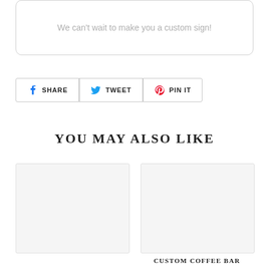We can't wait to make you a custom sign!
SHARE  TWEET  PIN IT
YOU MAY ALSO LIKE
[Figure (other): Product image placeholder box (left)]
[Figure (other): Product image placeholder box (right)]
CUSTOM COFFEE BAR